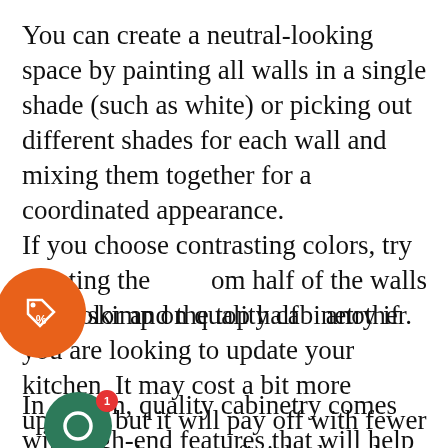You can create a neutral-looking space by painting all walls in a single shade (such as white) or picking out different shades for each wall and mixing them together for a coordinated appearance.
If you choose contrasting colors, try painting the bottom half of the walls one color and the top half another.
Don't skimp on quality cabinetry if you are looking to update your kitchen. It may cost a bit more upfront, but it will pay off with fewer repairs and a better-finished product.
In addition, quality cabinetry comes with high-end features that will help your kitchen stand the test of time.